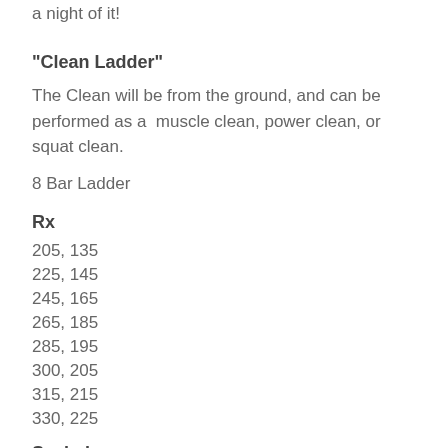a night of it!
“Clean Ladder”
The Clean will be from the ground, and can be performed as a  muscle clean, power clean, or squat clean.
8 Bar Ladder
Rx
205, 135
225, 145
245, 165
265, 185
285, 195
300, 205
315, 215
330, 225
Scaled
95, 65